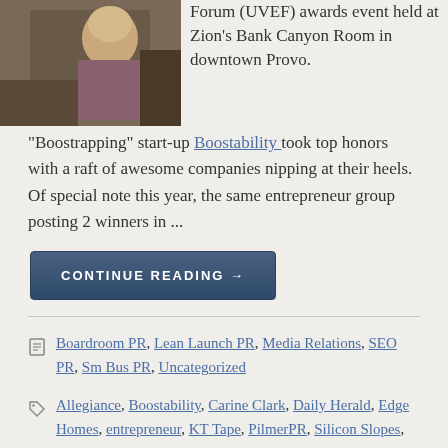[Figure (photo): Photo of a blonde woman at an event, seated, viewed from behind/side.]
Forum (UVEF) awards event held at Zion's Bank Canyon Room in downtown Provo. "Boostrapping" start-up Boostability took top honors with a raft of awesome companies nipping at their heels. Of special note this year, the same entrepreneur group posting 2 winners in ...
CONTINUE READING →
Boardroom PR, Lean Launch PR, Media Relations, SEO PR, Sm Bus PR, Uncategorized
Allegiance, Boostability, Carine Clark, Daily Herald, Edge Homes, entrepreneur, KT Tape, PilmerPR, Silicon Slopes, start-up, startup, Top 25 Under 5, Utah, UVEF